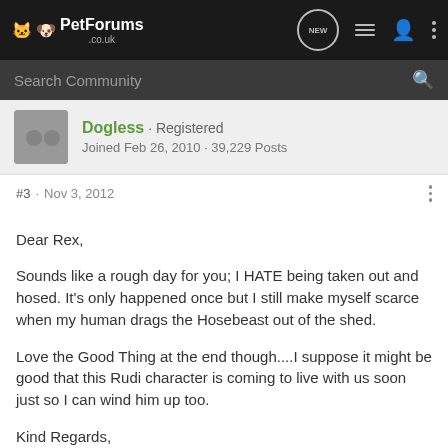PetForums .co.uk
Search Community
Dogless · Registered
Joined Feb 26, 2010 · 39,229 Posts
#3 · Nov 3, 2012
Dear Rex,

Sounds like a rough day for you; I HATE being taken out and hosed. It's only happened once but I still make myself scarce when my human drags the Hosebeast out of the shed.

Love the Good Thing at the end though....I suppose it might be good that this Rudi character is coming to live with us soon just so I can wind him up too.

Kind Regards,